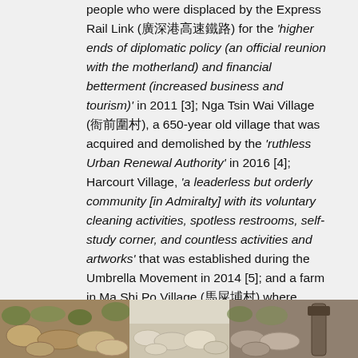people who were displaced by the Express Rail Link (廣深港高速鐵路) for the 'higher ends of diplomatic policy (an official reunion with the motherland) and financial betterment (increased business and tourism)' in 2011 [3]; Nga Tsin Wai Village (衙前圍村), a 650-year old village that was acquired and demolished by the 'ruthless Urban Renewal Authority' in 2016 [4]; Harcourt Village, 'a leaderless but orderly community [in Admiralty] with its voluntary cleaning activities, spotless restrooms, self-study corner, and countless activities and artworks' that was established during the Umbrella Movement in 2014 [5]; and a farm in Ma Shi Po Village (馬屎埔村) where 7000 square feet were 'boarded up and territorialised as part of the government's North East New Territories Development Plan' in conjunction with Henderson Property Development Limited. [6]
[Figure (photo): Photograph strip showing stone/brick rubble and a tool, appearing to show demolition or construction debris]